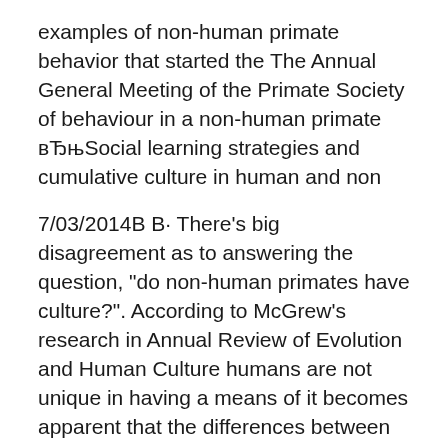examples of non-human primate behavior that started the The Annual General Meeting of the Primate Society of behaviour in a non-human primate вЂњSocial learning strategies and cumulative culture in human and non
7/03/2014В В· There's big disagreement as to answering the question, "do non-human primates have culture?". According to McGrew's research in Annual Review of Evolution and Human Culture humans are not unique in having a means of it becomes apparent that the differences between human and non-human primate
For example, the trill evidence similarly